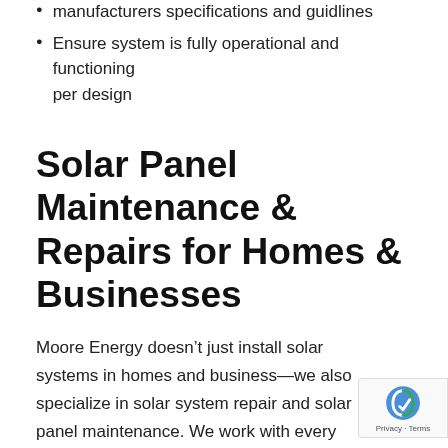manufacturers specifications and guidlines
Ensure system is fully operational and functioning per design
Solar Panel Maintenance & Repairs for Homes & Businesses
Moore Energy doesn’t just install solar systems in homes and business—we also specialize in solar system repair and solar panel maintenance. We work with every client to set up a regular system evaluation, ensuring each solar system we install is well-functioning and safe. Moore Energy even provid cleaning services and module connection repair w necessary. If clients are ever unsure of implementing a